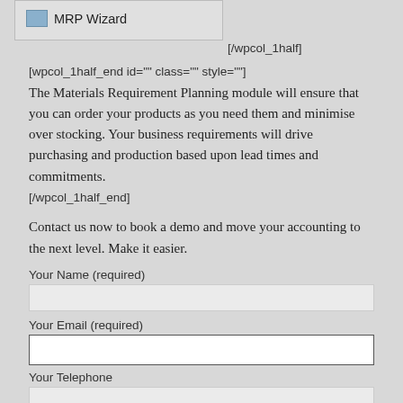[Figure (screenshot): Screenshot of MRP Wizard menu item with a blue icon and gray background, partial view]
[/wpcol_1half]
[wpcol_1half_end id="" class="" style=""]
The Materials Requirement Planning module will ensure that you can order your products as you need them and minimise over stocking. Your business requirements will drive purchasing and production based upon lead times and commitments.
[/wpcol_1half_end]
Contact us now to book a demo and move your accounting to the next level. Make it easier.
Your Name (required)
Your Email (required)
Your Telephone
Your Company